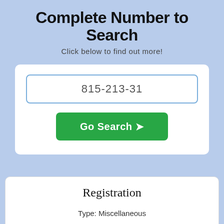Complete Number to Search
Click below to find out more!
[Figure (screenshot): Search input box containing '815-213-31' with a blue border]
[Figure (screenshot): Green 'Go Search ➤' button]
Registration
Type: Miscellaneous
Registrant comp: Sprint
Coverage: Sterling
Area code: 815
Sub code: 815-213-